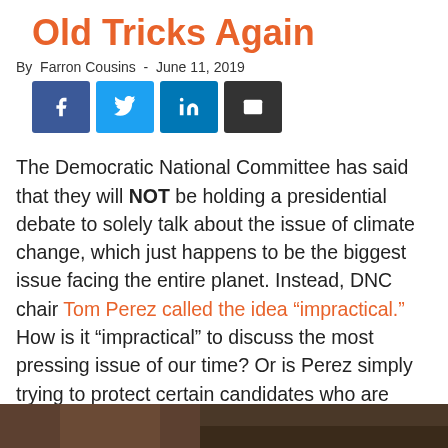Old Tricks Again
By Farron Cousins  -  June 11, 2019
[Figure (infographic): Social media share buttons: Facebook (blue), Twitter (light blue), LinkedIn (dark blue), Email (black)]
The Democratic National Committee has said that they will NOT be holding a presidential debate to solely talk about the issue of climate change, which just happens to be the biggest issue facing the entire planet. Instead, DNC chair Tom Perez called the idea “impractical.” How is it “impractical” to discuss the most pressing issue of our time? Or is Perez simply trying to protect certain candidates who are really bad on environmental issues? Ring of Fire’s Farron Cousins discusses this.
[Figure (photo): Partial photo strip at bottom of page]